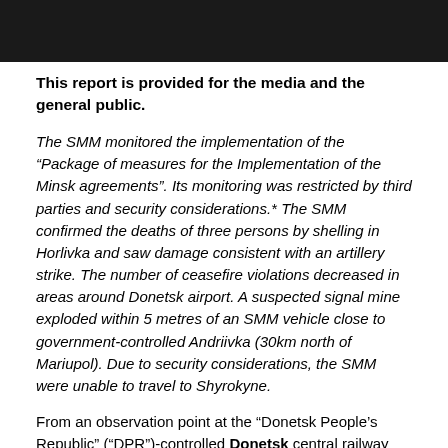This report is provided for the media and the general public.
The SMM monitored the implementation of the “Package of measures for the Implementation of the Minsk agreements”. Its monitoring was restricted by third parties and security considerations.* The SMM confirmed the deaths of three persons by shelling in Horlivka and saw damage consistent with an artillery strike. The number of ceasefire violations decreased in areas around Donetsk airport. A suspected signal mine exploded within 5 metres of an SMM vehicle close to government-controlled Andriivka (30km north of Mariupol). Due to security considerations, the SMM were unable to travel to Shyrokyne.
From an observation point at the “Donetsk People’s Republic” (“DPR”)-controlled Donetsk central railway station (8km north-west of Donetsk city centre), the SMM noticed a decrease in the number of ceasefire violations compared to previous days. Over